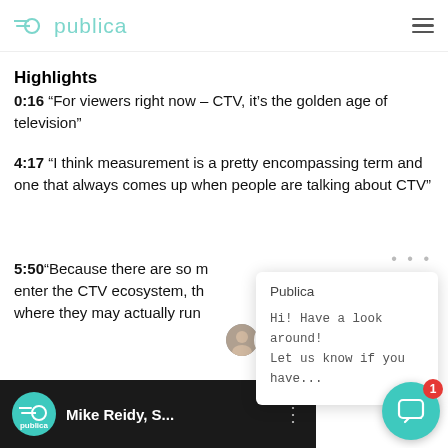publica
Highlights
0:16 “For viewers right now – CTV, it’s the golden age of television”
4:17 “I think measurement is a pretty encompassing term and one that always comes up when people are talking about CTV”
5:50“Because there are so m... enter the CTV ecosystem, th... where they may actually run
[Figure (screenshot): Chat popup overlay showing Publica brand name and message: Hi! Have a look around! Let us know if you have...]
[Figure (screenshot): Video thumbnail strip at bottom showing Publica logo circle, Mike Reidy S... title, and a chat FAB button with badge showing 1]